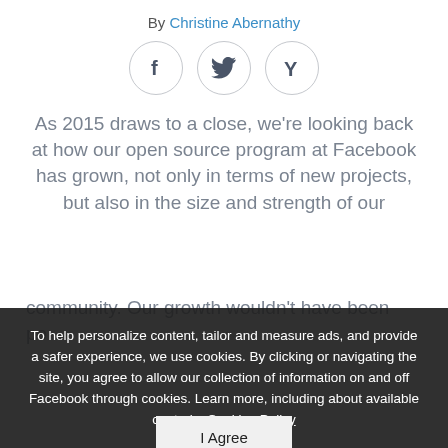By Christine Abernathy
[Figure (illustration): Three social sharing icons in circles: Facebook (f), Twitter (bird), Hacker News (Y)]
As 2015 draws to a close, we're looking back at how our open source program at Facebook has grown, not only in terms of new projects, but also in the size and strength of our community. Our growth wouldn't have been possible without all of you -- the thousands of contributors from across the globe who opened pull requests, flagged issues, and made 2015 such a successful year
To help personalize content, tailor and measure ads, and provide a safer experience, we use cookies. By clicking or navigating the site, you agree to allow our collection of information on and off Facebook through cookies. Learn more, including about available controls: Cookies Policy
I Agree
Some of our most widely adopted projects are